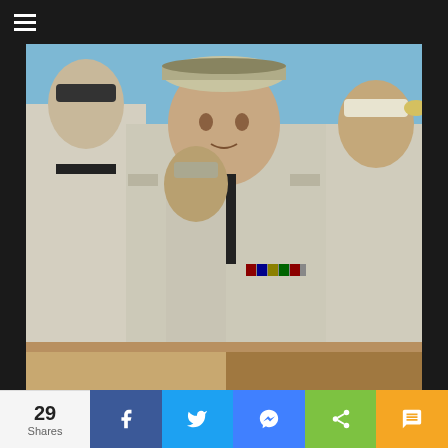[Figure (photo): Group of men in white naval military uniforms, with the central figure in foreground wearing officer uniform with black tie and military ribbons, others visible behind him, outdoor setting with blue sky]
Passing This 1950s Quiz Is Not Going To Happen. Dare To Try?
TriviaBoss.com
[Figure (photo): Partial view of a second image at the bottom, showing a brownish/tan colored scene, partially obscured by share bar]
29 Shares